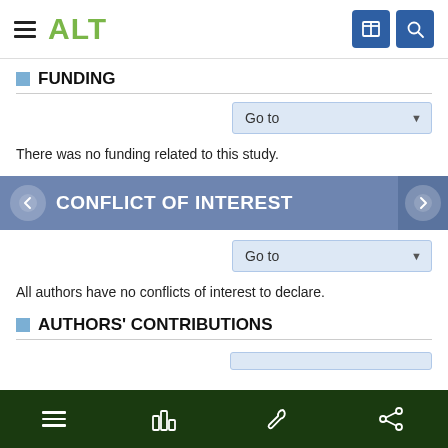ALT
FUNDING
There was no funding related to this study.
CONFLICT OF INTEREST
All authors have no conflicts of interest to declare.
AUTHORS' CONTRIBUTIONS
Navigation bar